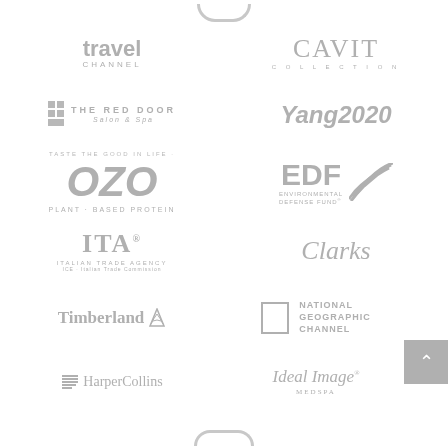[Figure (logo): Partial arc/circle logo at top center (cropped)]
[Figure (logo): Travel Channel logo in gray]
[Figure (logo): CAVIT Collection logo in gray serif font]
[Figure (logo): The Red Door Salon & Spa logo in gray]
[Figure (logo): Yang 2020 logo in gray italic]
[Figure (logo): OZO Plant-Based Protein logo in gray]
[Figure (logo): EDF Environmental Defense Fund logo in gray]
[Figure (logo): ITA Italian Trade Agency logo in gray]
[Figure (logo): Clarks logo in gray italic script]
[Figure (logo): Timberland logo in gray]
[Figure (logo): National Geographic Channel logo in gray]
[Figure (logo): HarperCollins logo in gray]
[Figure (logo): Ideal Image MedSpa logo in gray italic]
[Figure (logo): Partial circular logo at bottom center (cropped)]